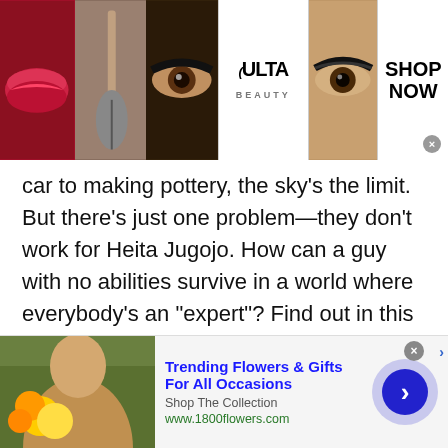[Figure (photo): Ulta Beauty advertisement banner showing makeup photos and logo with Shop Now button]
car to making pottery, the sky’s the limit. But there’s just one problem—they don’t work for Heita Jugojo. How can a guy with no abilities survive in a world where everybody’s an “expert”? Find out in this offbeat sci-fi story!
Chainsaw Man is only currently available via the Shonen Jump subscription.
Privacy & Cookies: This site uses cookies. By continuing to use this website,
[Figure (photo): Trending Flowers & Gifts For All Occasions advertisement with woman holding flowers, Shop The Collection, www.1800flowers.com]